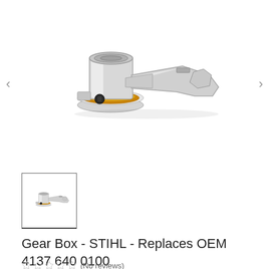[Figure (photo): Gear box metal component - STIHL replacement part OEM 4137 640 0100, shown from side angle. Silver/aluminum colored mechanical gear box with orange disc visible and black bolt.]
[Figure (photo): Thumbnail image of the same gear box component, smaller view.]
Gear Box - STIHL - Replaces OEM 4137 640 0100
(No reviews)